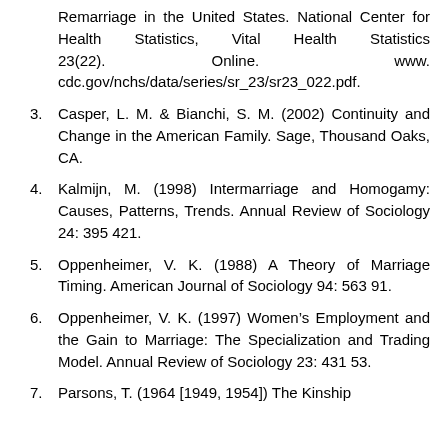Remarriage in the United States. National Center for Health Statis­tics, Vital Health Statistics 23(22). Online. www.cdc.gov/nchs/data/series/sr_23/sr23_022.pdf.
3. Casper, L. M. & Bianchi, S. M. (2002) Continuity and Change in the American Family. Sage, Thou­sand Oaks, CA.
4. Kalmijn, M. (1998) Intermarriage and Homogamy: Causes, Patterns, Trends. Annual Review of Sociology 24: 395 421.
5. Oppenheimer, V. K. (1988) A Theory of Marriage Timing. American Journal of Sociology 94: 563 91.
6. Oppenheimer, V. K. (1997) Women’s Employment and the Gain to Marriage: The Specialization and Trading Model. Annual Review of Sociology 23: 431 53.
7. Parsons, T. (1964 [1949, 1954]) The Kinship